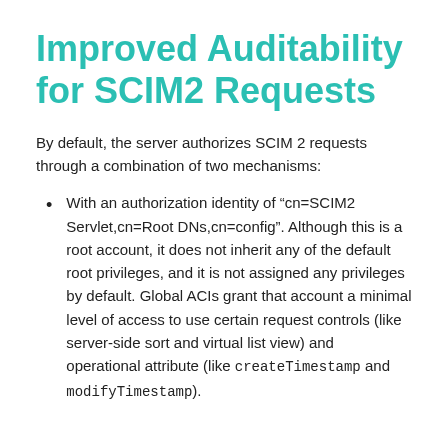Improved Auditability for SCIM2 Requests
By default, the server authorizes SCIM 2 requests through a combination of two mechanisms:
With an authorization identity of “cn=SCIM2 Servlet,cn=Root DNs,cn=config”. Although this is a root account, it does not inherit any of the default root privileges, and it is not assigned any privileges by default. Global ACIs grant that account a minimal level of access to use certain request controls (like server-side sort and virtual list view) and operational attribute (like createTimestamp and modifyTimestamp).